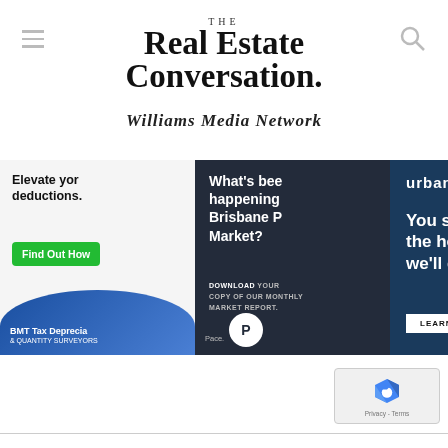THE Real Estate Conversation.
Williams Media Network
[Figure (screenshot): A horizontal strip of four advertisement banners: BMT Tax Depreciation ('Elevate your deductions... Find Out How'), Brisbane Property Market report download, UrbanX ('You sell the house we'll do the rest – LEARN MORE'), and Movinghub ('A protech solution for connecting essential home services, strengthening your brand and increasing revenue – Learn More...')]
[Figure (other): reCAPTCHA widget with logo and 'Privacy - Terms' text]